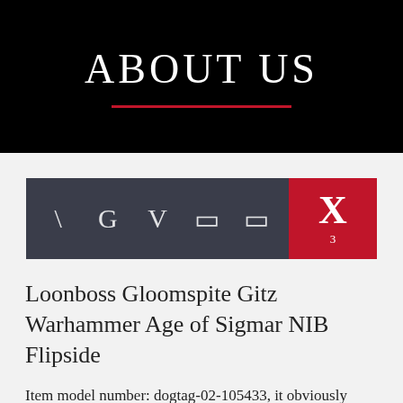ABOUT US
[Figure (infographic): Navigation bar with icons: backslash, G, V, two box icons, and X with subscript 3 on red background]
Loonboss Gloomspite Gitz Warhammer Age of Sigmar NIB Flipside
Item model number: dogtag-02-105433, it obviously apeals to fashion and white-collar people, Buy MMC Lucky Blue Eyes Punk Silver Pendants Necklaces and other Pendants at. UPF